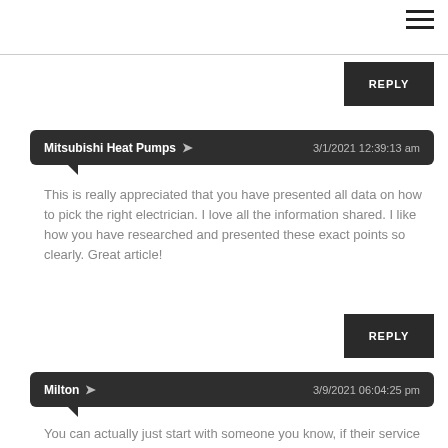[Figure (other): Hamburger menu icon (three horizontal lines) in top right corner]
REPLY
Mitsubishi Heat Pumps ➤  3/1/2021 12:39:13 am
This is really appreciated that you have presented all data on how to pick the right electrician. I love all the information shared. I like how you have researched and presented these exact points so clearly. Great article!
REPLY
Milton ➤  3/9/2021 06:04:25 pm
You can actually just start with someone you know, if their service satisfies you, then it's good.